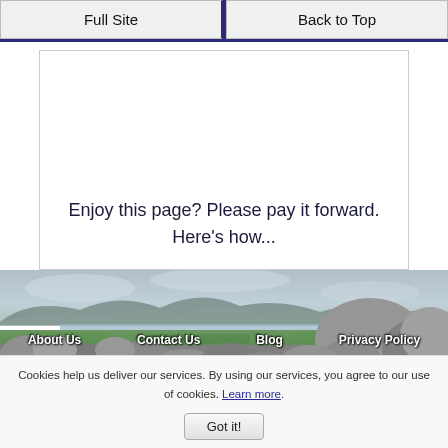Full Site | Back to Top
Enjoy this page? Please pay it forward. Here's how...
[Figure (photo): Landscape photo of Irish countryside with stone wall in foreground, green fields, lake, mountains, and overcast sky. Footer navigation links overlaid: About Us, Contact Us, Blog, Privacy Policy]
Cookies help us deliver our services. By using our services, you agree to our use of cookies. Learn more.
Got it!